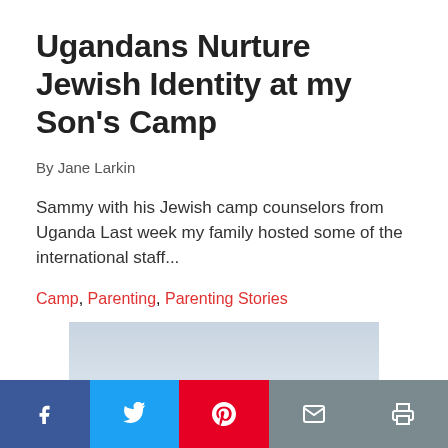Ugandans Nurture Jewish Identity at my Son's Camp
By Jane Larkin
Sammy with his Jewish camp counselors from Uganda Last week my family hosted some of the international staff...
Camp, Parenting, Parenting Stories
[Figure (photo): A faded outdoor photograph, mostly pale blue-grey sky with subtle landscape elements.]
[Figure (infographic): Social sharing bar with Facebook, Twitter, Pinterest, Email, and Print buttons.]